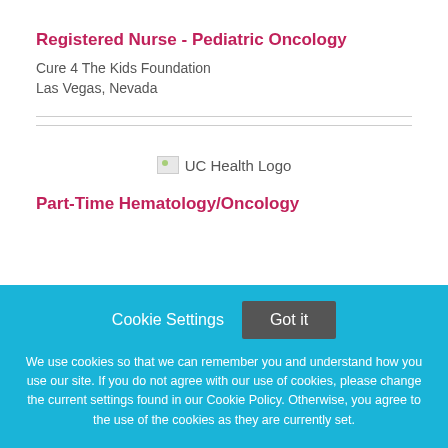Registered Nurse - Pediatric Oncology
Cure 4 The Kids Foundation
Las Vegas, Nevada
[Figure (logo): UC Health Logo]
Part-Time Hematology/Oncology
Cookie Settings
Got it
We use cookies so that we can remember you and understand how you use our site. If you do not agree with our use of cookies, please change the current settings found in our Cookie Policy. Otherwise, you agree to the use of the cookies as they are currently set.